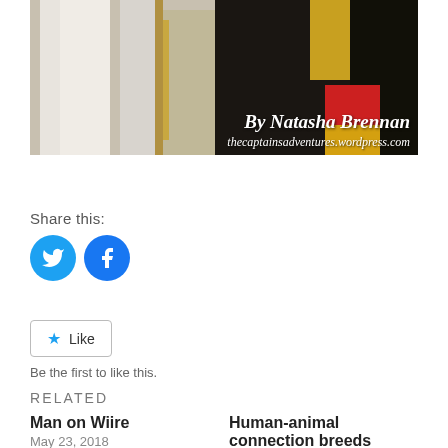[Figure (photo): Photo of people in traditional/cultural costumes, partially visible (lower half), with white and gold robes on the left and dark costume with red and yellow on the right. Overlaid italic text reads 'By Natasha Brennan' and 'thecaptainsadventures.wordpress.com']
Share this:
[Figure (infographic): Twitter and Facebook circular share buttons in blue]
[Figure (infographic): Like button with star icon and text 'Like']
Be the first to like this.
Related
Man on Wiire
May 23, 2018
In "Humans"
Human-animal connection breeds compassion
March 10, 2017